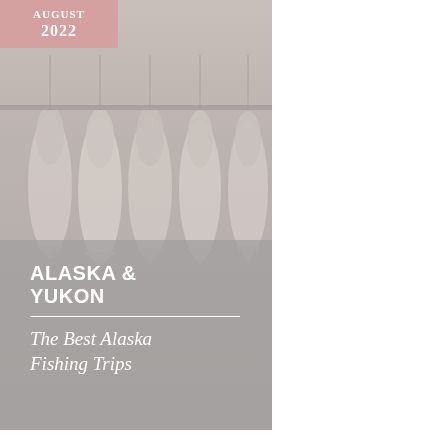[Figure (photo): Magazine cover image showing hanging fish (salmon) with a small date badge in the top left reading AUGUST 2022 on a pinkish-red background. The photo has a muted, washed-out gray-pink tone showing several large fish hanging from a rack. The lower portion of the image has a semi-transparent gray overlay with text.]
ALASKA & YUKON
The Best Alaska Fishing Trips